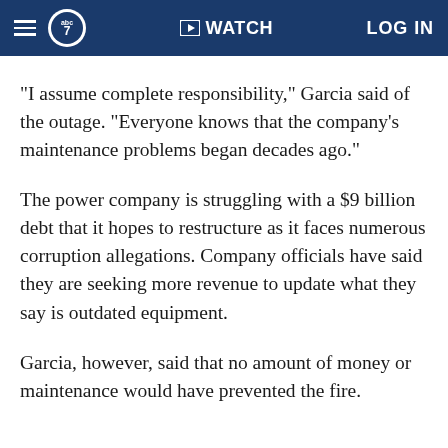≡ abc7 ▶ WATCH LOG IN
"I assume complete responsibility," Garcia said of the outage. "Everyone knows that the company's maintenance problems began decades ago."
The power company is struggling with a $9 billion debt that it hopes to restructure as it faces numerous corruption allegations. Company officials have said they are seeking more revenue to update what they say is outdated equipment.
Garcia, however, said that no amount of money or maintenance would have prevented the fire.